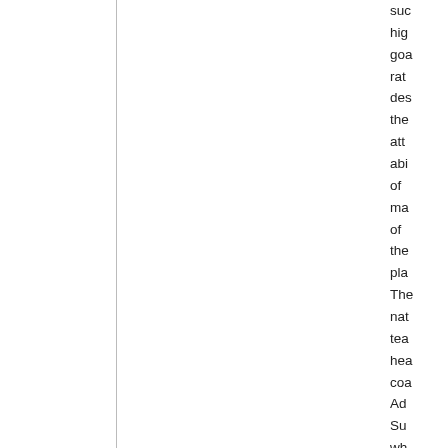suc hig goa rat des the att abi of ma of the pla The nat tea hea coa Ad Su wh has bee wa